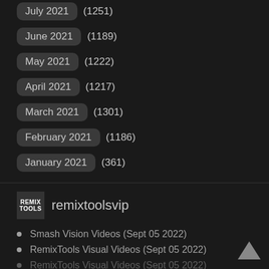July 2021 (1251)
June 2021 (1189)
May 2021 (1222)
April 2021 (1217)
March 2021 (1301)
February 2021 (1186)
January 2021 (361)
[Figure (logo): RemixTools logo — two-line bold text REMIX TOOLS on dark background]
remixtoolsvip
Smash Vision Videos (Sept 05 2022)
RemixTools Visual Videos (Sept 05 2022)
RemixTools Visual Videos (Sept 05 2022)